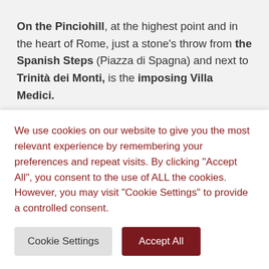On the Pinciohill, at the highest point and in the heart of Rome, just a stone's throw from the Spanish Steps (Piazza di Spagna) and next to Trinità dei Monti, is the imposing Villa Medici.
The villa stands on the slopes of the hill where once, at the end of the …ic period (31 BC) the R…
We use cookies on our website to give you the most relevant experience by remembering your preferences and repeat visits. By clicking "Accept All", you consent to the use of ALL the cookies. However, you may visit "Cookie Settings" to provide a controlled consent.